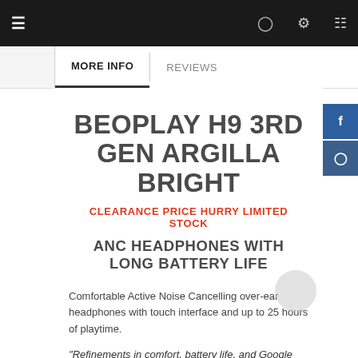Navigation bar with hamburger menu, user, settings, and cart icons
MORE INFO | REVIEWS
BEOPLAY H9 3RD GEN ARGILLA BRIGHT
CLEARANCE PRICE HURRY LIMITED STOCK
ANC HEADPHONES WITH LONG BATTERY LIFE
Comfortable Active Noise Cancelling over-ear headphones with touch interface and up to 25 hours of playtime.
" Refinements in comfort, battery life, and Google Assistant integration coupled with solid active noise cancellation make Bang and Olufsen's flagship headphones among the top choices"
Tech Hive